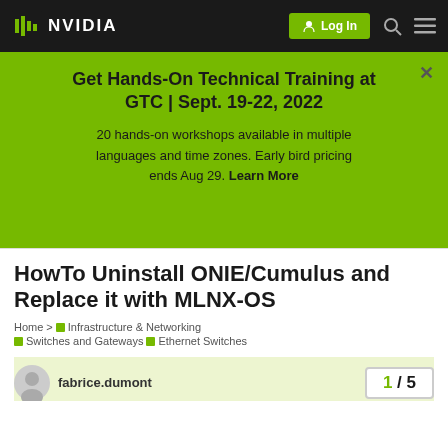NVIDIA | Log In
Get Hands-On Technical Training at GTC | Sept. 19-22, 2022
20 hands-on workshops available in multiple languages and time zones. Early bird pricing ends Aug 29. Learn More
HowTo Uninstall ONIE/Cumulus and Replace it with MLNX-OS
Home > Infrastructure & Networking > Switches and Gateways > Ethernet Switches
fabrice.dumont